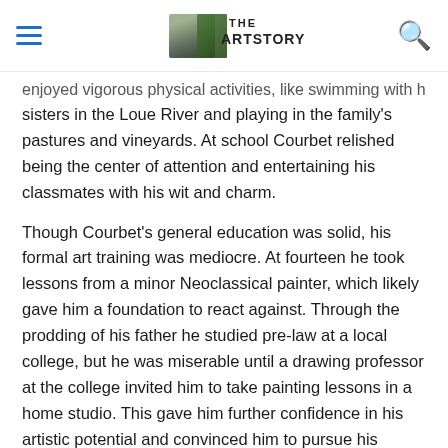THE ARTSTORY
enjoyed vigorous physical activities, like swimming with his sisters in the Loue River and playing in the family's pastures and vineyards. At school Courbet relished being the center of attention and entertaining his classmates with his wit and charm.
Though Courbet's general education was solid, his formal art training was mediocre. At fourteen he took lessons from a minor Neoclassical painter, which likely gave him a foundation to react against. Through the prodding of his father he studied pre-law at a local college, but he was miserable until a drawing professor at the college invited him to take painting lessons in a home studio. This gave him further confidence in his artistic potential and convinced him to pursue his passion.
Early Years
[Figure (photo): Partial bottom of a painting showing a figure, cropped at the bottom of the page]